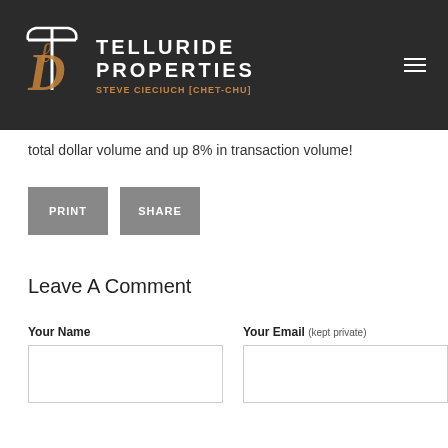[Figure (logo): Telluride Properties logo with pickaxe icon and 'Steve Cieciuch [Chet-chu]' tagline on dark background]
total dollar volume and up 8% in transaction volume!
PRINT  SHARE
Leave A Comment
Your Name
Your Email (kept private)